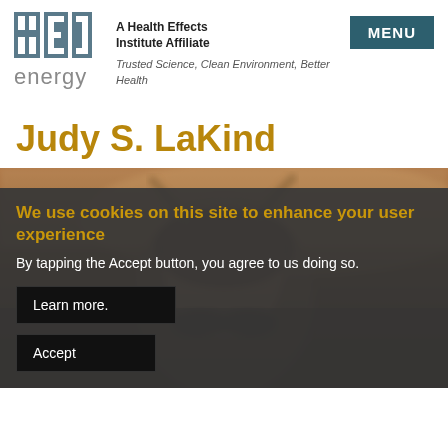[Figure (logo): HEI Energy logo — stylized letters H, E, I in blue-gray blocks with 'energy' text below]
A Health Effects Institute Affiliate
Trusted Science, Clean Environment, Better Health
MENU
Judy S. LaKind
[Figure (photo): Blurred close-up portrait photo of a person with sunglasses, warm brown tones]
We use cookies on this site to enhance your user experience
By tapping the Accept button, you agree to us doing so.
Learn more.
Accept